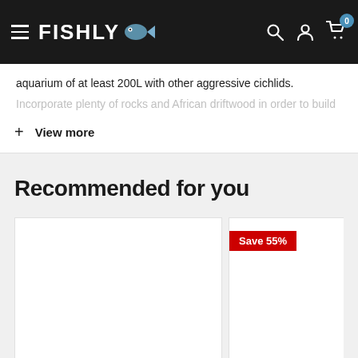FISHLY
aquarium of at least 200L with other aggressive cichlids.
Incorporate plenty of rocks and African driftwood in order to build
+ View more
Recommended for you
[Figure (photo): Product card 1 - empty white product image area]
[Figure (infographic): Product card 2 with Save 55% red badge]